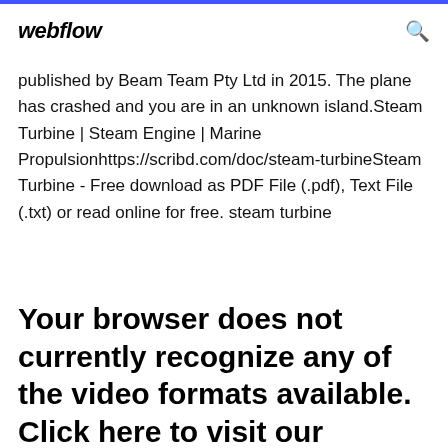webflow
published by Beam Team Pty Ltd in 2015. The plane has crashed and you are in an unknown island.Steam Turbine | Steam Engine | Marine Propulsionhttps://scribd.com/doc/steam-turbineSteam Turbine - Free download as PDF File (.pdf), Text File (.txt) or read online for free. steam turbine
Your browser does not currently recognize any of the video formats available. Click here to visit our frequently asked questions about HTML5 video